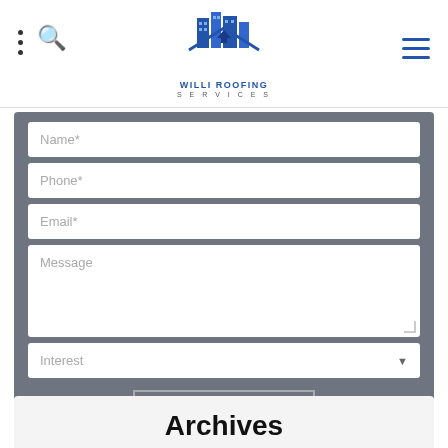[Figure (logo): Willi Roofing Services logo with city skyline and roof icon in blue, text below reads WILLI ROOFING SERVICES]
[Figure (screenshot): Contact form with fields: Name*, Phone*, Email*, Message, Interest dropdown, and SUBMIT button on a grey background]
Archives
FREE ESTIMATE